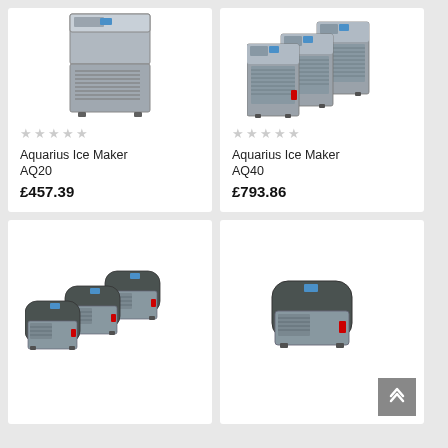[Figure (photo): Aquarius Ice Maker AQ20 – stainless steel upright ice machine]
★ ★ ★ ★ ★
Aquarius Ice Maker AQ20
£457.39
[Figure (photo): Aquarius Ice Maker AQ40 – three stainless steel ice machines side by side]
★ ★ ★ ★ ★
Aquarius Ice Maker AQ40
£793.86
[Figure (photo): Three compact dark-lidded ice maker machines side by side]
[Figure (photo): Single compact dark-lidded ice maker machine]